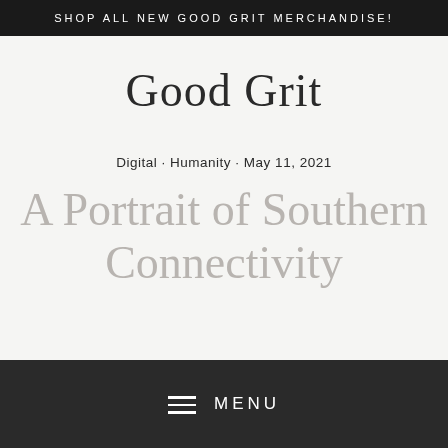SHOP ALL NEW GOOD GRIT MERCHANDISE!
Good Grit
Digital · Humanity · May 11, 2021
A Portrait of Southern Connectivity
MENU